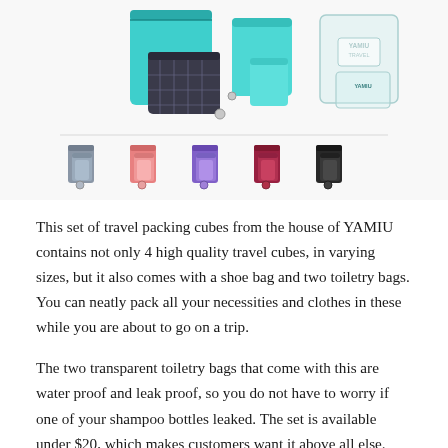[Figure (photo): Product photo of YAMIU travel packing cubes set showing teal/turquoise packing cubes with black plaid pattern and clear transparent toiletry bags in the main image, and five color variant sets (grey, pink/coral, purple, burgundy/red, black) shown as thumbnail row below.]
This set of travel packing cubes from the house of YAMIU contains not only 4 high quality travel cubes, in varying sizes, but it also comes with a shoe bag and two toiletry bags. You can neatly pack all your necessities and clothes in these while you are about to go on a trip.
The two transparent toiletry bags that come with this are water proof and leak proof, so you do not have to worry if one of your shampoo bottles leaked. The set is available under $20, which makes customers want it above all else.